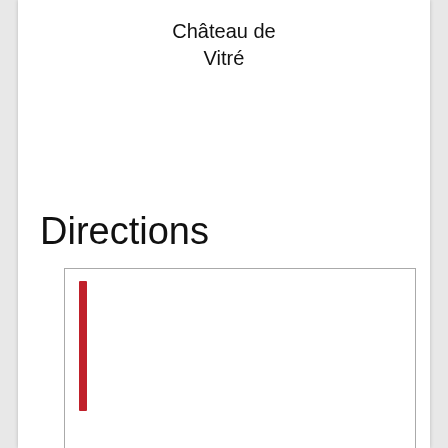Château de Vitré
Directions
[Figure (map): A map display area with a red vertical bar indicator on the left side, showing directions to Château de Vitré.]